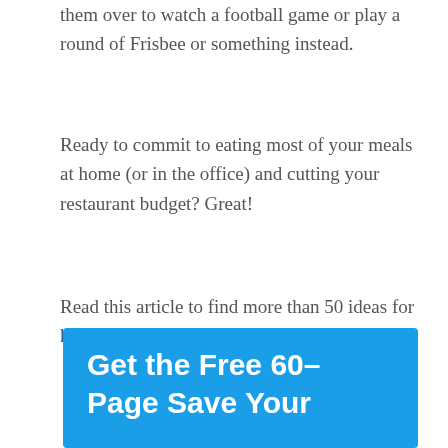them over to watch a football game or play a round of Frisbee or something instead.
Ready to commit to eating most of your meals at home (or in the office) and cutting your restaurant budget? Great!
Read this article to find more than 50 ideas for how to save money on groceries, as well.
[Figure (infographic): Blue banner box with white bold text reading 'Get the Free 60-Page Save Your']